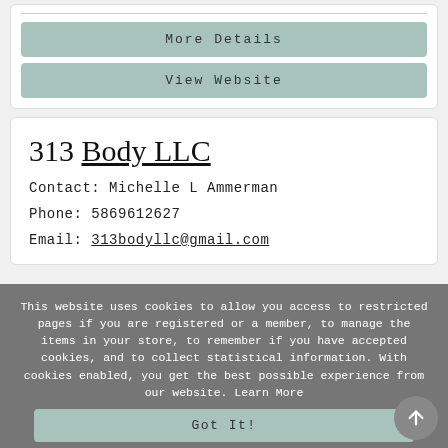More Details
View Website
313 Body LLC
Contact: Michelle L Ammerman
Phone: 5869612627
Email: 313bodyllc@gmail.com
This website uses cookies to allow you access to restricted pages if you are registered or a member, to manage the items in your store, to remember if you have accepted cookies, and to collect statistical information. With cookies enabled, you get the best possible experience from our website. Learn More
Got It!